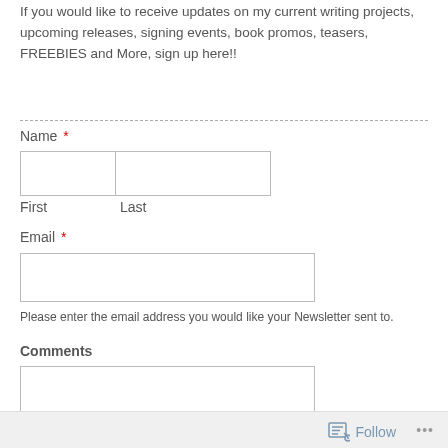If you would like to receive updates on my current writing projects, upcoming releases, signing events, book promos, teasers, FREEBIES and More, sign up here!!
Name *
First    Last
Email *
Please enter the email address you would like your Newsletter sent to.
Comments
Follow ...